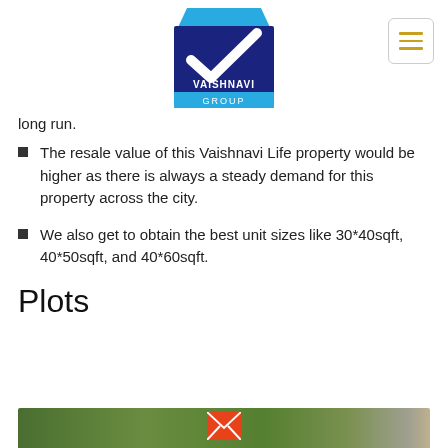[Figure (logo): Vaishnavi Group logo — dark blue square with white checkmark, light blue top accent, 'VAISHNAVI GROUP' text below]
long run.
The resale value of this Vaishnavi Life property would be higher as there is always a steady demand for this property across the city.
We also get to obtain the best unit sizes like 30*40sqft, 40*50sqft, and 40*60sqft.
Plots
[Figure (photo): Aerial/ground-level photo of a green plot of land]
[Figure (illustration): Orange envelope/mail icon at the bottom center of the page]